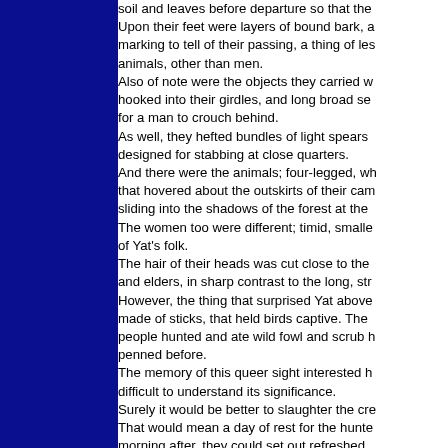soil and leaves before departure so that the Upon their feet were layers of bound bark, a marking to tell of their passing, a thing of les animals, other than men. Also of note were the objects they carried w hooked into their girdles, and long broad se for a man to crouch behind. As well, they hefted bundles of light spears designed for stabbing at close quarters. And there were the animals; four-legged, wh that hovered about the outskirts of their cam sliding into the shadows of the forest at the The women too were different; timid, smalle of Yat's folk. The hair of their heads was cut close to the and elders, in sharp contrast to the long, str However, the thing that surprised Yat above made of sticks, that held birds captive. The people hunted and ate wild fowl and scrub h penned before. The memory of this queer sight interested h difficult to understand its significance. Surely it would be better to slaughter the cre That would mean a day of rest for the hunte morning after, they could set out refreshed. the the beginning of living for birds which w